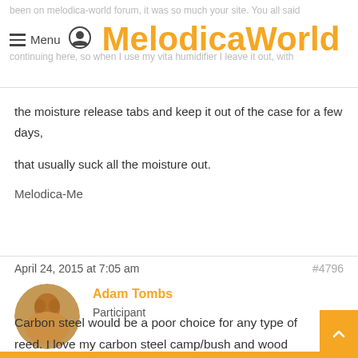Menu | MelodicaWorld
the moisture release tabs and keep it out of the case for a few days, that usually suck all the moisture out.
Melodica-Me
April 24, 2015 at 7:05 am   #4796
Adam Tombs
Participant
Carbon steel would be a poor choice for any type of reed. I love my carbon steel camp/bush and wood carving knives but they need ongoing care to avoid them rusting away. Stainless reeds are I believe what is in the modern accordion and the Pro 36. Troy is right,